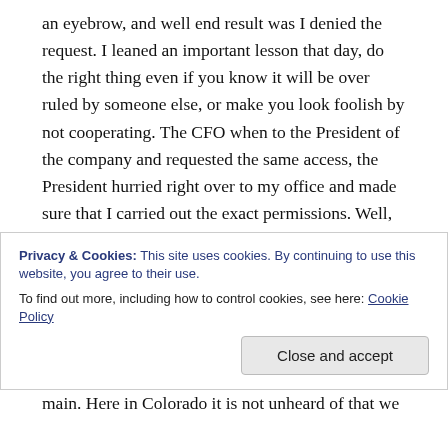an eyebrow, and well end result was I denied the request. I leaned an important lesson that day, do the right thing even if you know it will be over ruled by someone else, or make you look foolish by not cooperating. The CFO when to the President of the company and requested the same access, the President hurried right over to my office and made sure that I carried out the exact permissions. Well, this is a long story, the end result? 6 months later we found out that the CFO passed the list to his wife, and they formed a company in her name. The new company
Privacy & Cookies: This site uses cookies. By continuing to use this website, you agree to their use.
To find out more, including how to control cookies, see here: Cookie Policy
main. Here in Colorado it is not unheard of that we